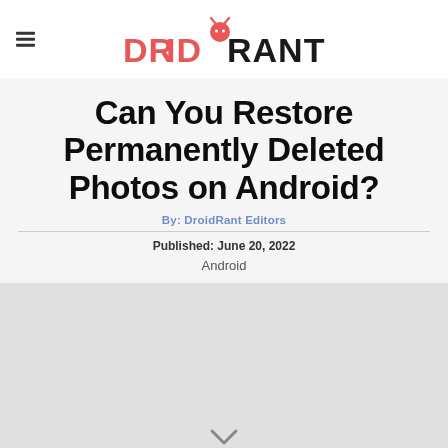DROIDRANT
Can You Restore Permanently Deleted Photos on Android?
By: DroidRant Editors
Published: June 20, 2022
Android